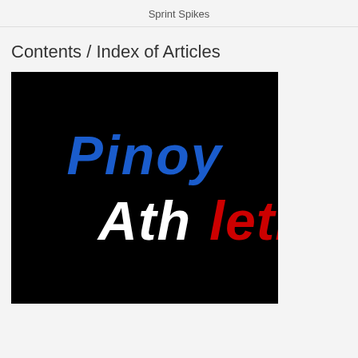Sprint Spikes
Contents / Index of Articles
[Figure (logo): Pinoy Athletics logo on black background. 'Pinoy' in blue italic bold text and 'Athletics' in mixed white/red italic bold text.]